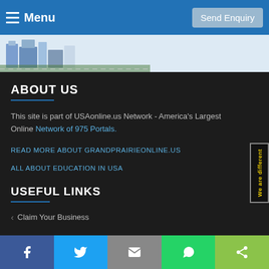Menu   Send Enquiry
[Figure (screenshot): Website screenshot header with navigation bar showing hamburger menu and 'Send Enquiry' button on blue background, and a partial building illustration below]
ABOUT US
This site is part of USAonline.us Network - America's Largest Online Network of 975 Portals.
READ MORE ABOUT GRANDPRAIRIEONLINE.US
ALL ABOUT EDUCATION IN USA
USEFUL LINKS
Claim Your Business